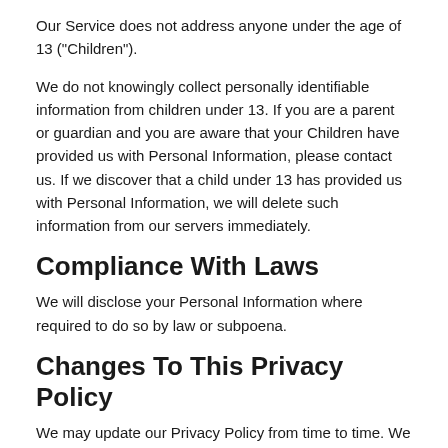Our Service does not address anyone under the age of 13 ("Children").
We do not knowingly collect personally identifiable information from children under 13. If you are a parent or guardian and you are aware that your Children have provided us with Personal Information, please contact us. If we discover that a child under 13 has provided us with Personal Information, we will delete such information from our servers immediately.
Compliance With Laws
We will disclose your Personal Information where required to do so by law or subpoena.
Changes To This Privacy Policy
We may update our Privacy Policy from time to time. We will notify you of any changes by posting the new Privacy Policy on this page.
You are advised to review this Privacy Policy periodically for any